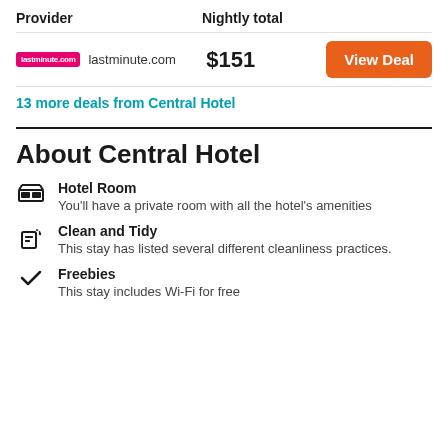| Provider | Nightly total |  |
| --- | --- | --- |
| lastminute.com | $151 | View Deal |
13 more deals from Central Hotel
About Central Hotel
Hotel Room
You'll have a private room with all the hotel's amenities
Clean and Tidy
This stay has listed several different cleanliness practices.
Freebies
This stay includes Wi-Fi for free